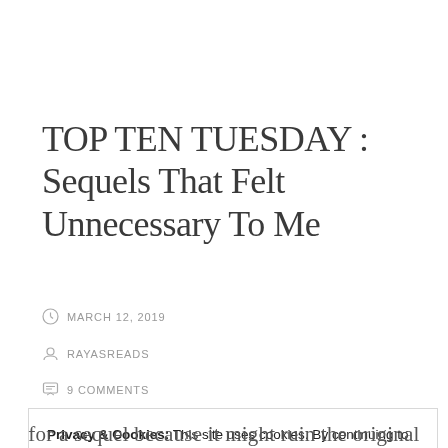TOP TEN TUESDAY : Sequels That Felt Unnecessary To Me
MARCH 12, 2019
RAYASREADS
9 COMMENTS
Privacy & Cookies: This site uses cookies. By continuing to use this website, you agree to their use. To find out more, including how to control cookies, see here: Cookie Policy
Close and accept
for a sequel because it might ruin the original